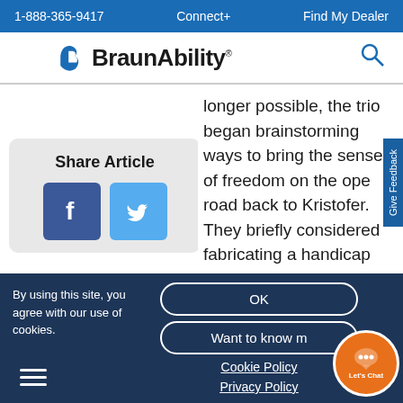1-888-365-9417   Connect+   Find My Dealer
[Figure (logo): BraunAbility logo with stylized B icon and search icon]
longer possible, the trio began brainstorming ways to bring the sense of freedom on the open road back to Kristofer. They briefly considered fabricating a handicap motorcycle from scratch before deciding there must be a product out
Share Article
[Figure (illustration): Facebook and Twitter share buttons]
By using this site, you agree with our use of cookies.
OK
Want to know more
Cookie Policy
Privacy Policy
[Figure (illustration): Let's Chat orange chat bubble button]